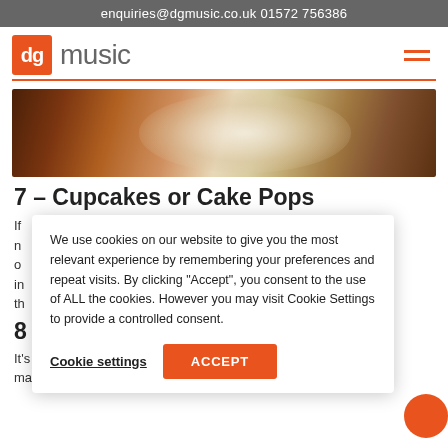enquiries@dgmusic.co.uk    01572 756386
[Figure (logo): dg music logo: orange square with 'dg' in white text, followed by 'music' in grey sans-serif]
[Figure (photo): Restaurant table setting with white plate, cutlery, and glass on wooden table]
7 – Cupcakes or Cake Pops
If ... y n... o... in... th...
8...
It's nothing personal. Soap is souper (sorry!) easy to make and you can even buy a custom made stamp
We use cookies on our website to give you the most relevant experience by remembering your preferences and repeat visits. By clicking "Accept", you consent to the use of ALL the cookies. However you may visit Cookie Settings to provide a controlled consent.